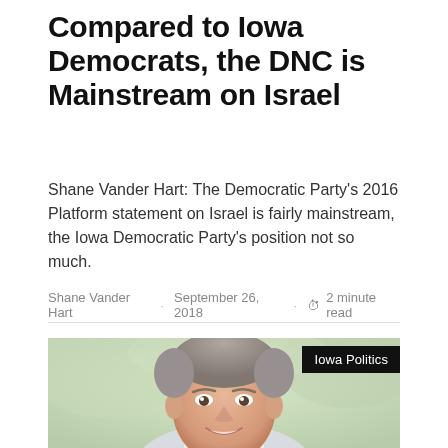Compared to Iowa Democrats, the DNC is Mainstream on Israel
Shane Vander Hart: The Democratic Party's 2016 Platform statement on Israel is fairly mainstream, the Iowa Democratic Party's position not so much.
Shane Vander Hart · September 26, 2018 · 2 minute read
[Figure (photo): Headshot of a middle-aged man with grey hair, smiling, wearing a light-colored shirt, with a blurred green outdoor background. An 'Iowa Politics' badge appears in the top right corner of the photo.]